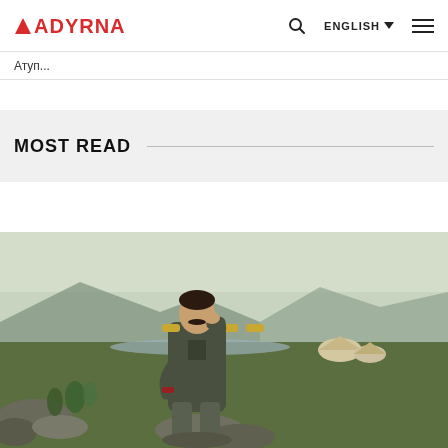ADYRNA | ENGLISH | [Search] [Menu]
Атуп...
MOST READ
[Figure (photo): Painting of a uniformed military officer with epaulettes, sitting on rocks in a contemplative pose, with a Central Asian steppe landscape, yurts, mountains, and a river in the background.]